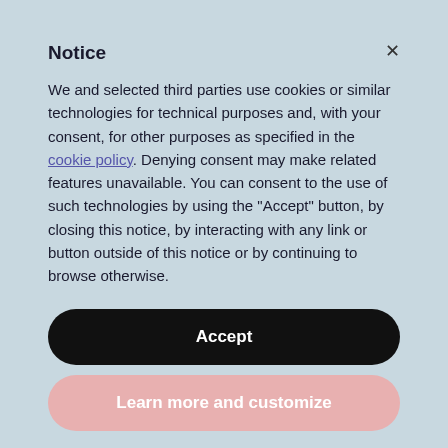Notice
We and selected third parties use cookies or similar technologies for technical purposes and, with your consent, for other purposes as specified in the cookie policy. Denying consent may make related features unavailable. You can consent to the use of such technologies by using the "Accept" button, by closing this notice, by interacting with any link or button outside of this notice or by continuing to browse otherwise.
Accept
Learn more and customize
explained that we now needed to protect them in the 21st century.
They also looked for ways to ensure that...